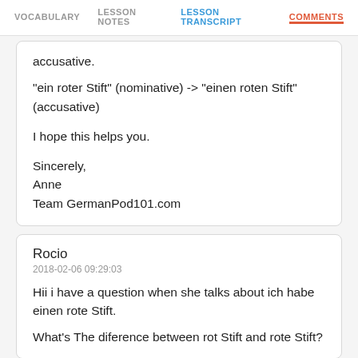VOCABULARY   LESSON NOTES   LESSON TRANSCRIPT   COMMENTS
accusative.

"ein roter Stift" (nominative) -> "einen roten Stift" (accusative)

I hope this helps you.

Sincerely,
Anne
Team GermanPod101.com
Rocio
2018-02-06 09:29:03

Hii i have a question when she talks about ich habe einen rote Stift.

What's The diference between rot Stift and rote Stift?